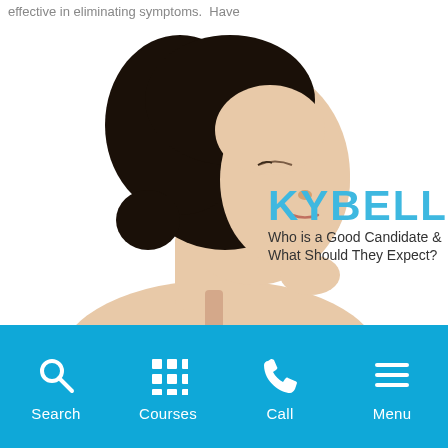effective in eliminating symptoms.  Have
[Figure (photo): Side profile of a woman with dark hair tilted back, touching her chin/neck area. Overlaid text reads 'KYBELLA - Who is a Good Candidate & What Should They Expect?' in blue and dark text on white background.]
Search  Courses  Call  Menu